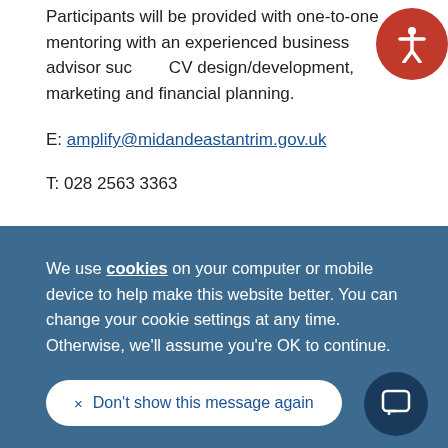Participants will be provided with one-to-one mentoring with an experienced business advisor such as CV design/development, marketing and financial planning.
E: amplify@midandeastantrim.gov.uk
T: 028 2563 3363
We use cookies on your computer or mobile device to help make this website better. You can change your cookie settings at any time. Otherwise, we'll assume you're OK to continue.
× Don't show this message again